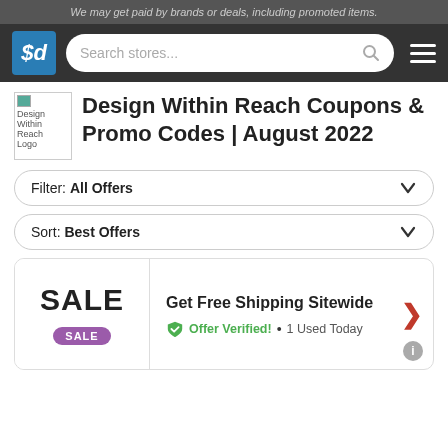We may get paid by brands or deals, including promoted items.
[Figure (logo): sd logo - savings.com style site logo in blue box with sd text]
Design Within Reach Coupons & Promo Codes | August 2022
Filter: All Offers
Sort: Best Offers
SALE
Get Free Shipping Sitewide
Offer Verified! • 1 Used Today